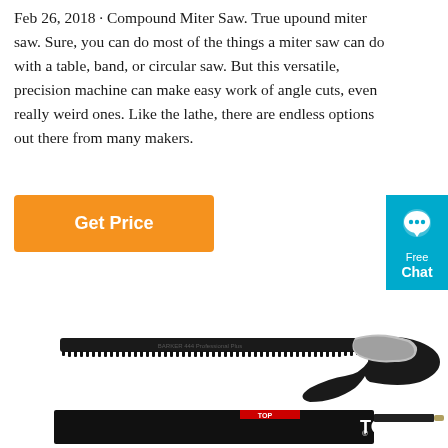Feb 26, 2018 · Compound Miter Saw. True upound miter saw. Sure, you can do most of the things a miter saw can do with a table, band, or circular saw. But this versatile, precision machine can make easy work of angle cuts, even really weird ones. Like the lathe, there are endless options out there from many makers.
[Figure (other): Orange 'Get Price' button]
[Figure (other): Blue 'Free Chat' widget with speech bubble icon on right side]
[Figure (photo): Two hand saws shown: a folding pruning saw (BARKER brand) with black blade and curved handle, and a packaged TOP brand saw below it]